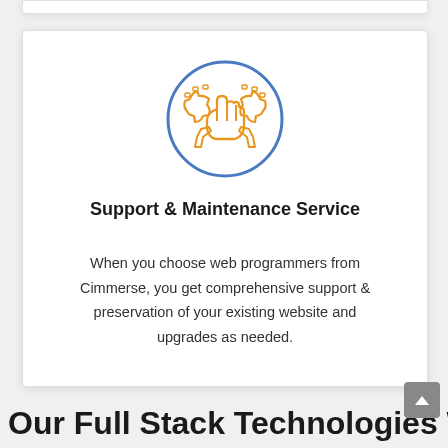[Figure (illustration): Orange line-art icon of a fist holding tools (wrenches/gears) inside a blue circle, representing support and maintenance service]
Support & Maintenance Service
When you choose web programmers from Cimmerse, you get comprehensive support & preservation of your existing website and upgrades as needed.
Our Full Stack Technologies We...